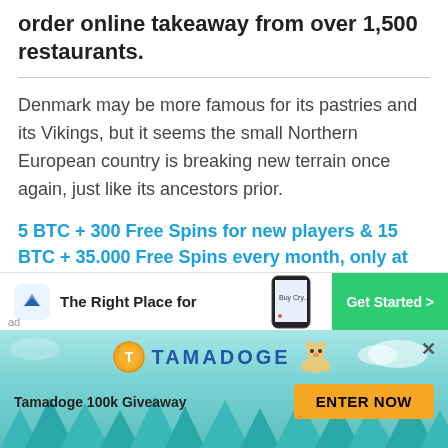order online takeaway from over 1,500 restaurants.
Denmark may be more famous for its pastries and its Vikings, but it seems the small Northern European country is breaking new terrain once again, just like its ancestors prior.
5 BTC + 300 Free Spins for new players & 15 BTC + 35.000 Free Spins every month, only at mBitcasino. Play Now!
[Figure (screenshot): Advertisement banner: blue logo icon, text 'The Right Place for', phone image, green 'Get Started >' button]
[Figure (screenshot): Tamadoge advertisement bar with teal background, trees silhouette, Tamadoge logo, dog character, '100k Giveaway' text, and orange 'ENTER NOW' button]